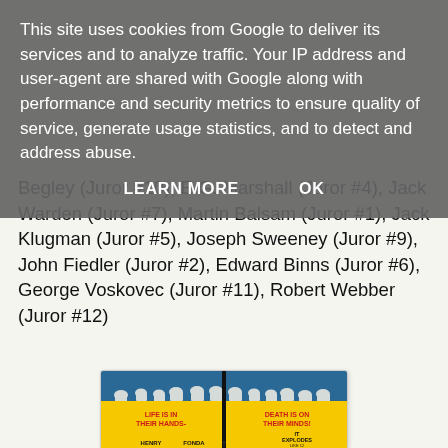This site uses cookies from Google to deliver its services and to analyze traffic. Your IP address and user-agent are shared with Google along with performance and security metrics to ensure quality of service, generate usage statistics, and to detect and address abuse.
LEARN MORE   OK
Begley (Juror #10), E.G. Marshall (Juror #4), Jack Warden (Juror #7), Martin Balsam (Juror #1), Jack Klugman (Juror #5), Joseph Sweeney (Juror #9), John Fiedler (Juror #2), Edward Binns (Juror #6), George Voskovec (Juror #11), Robert Webber (Juror #12)
[Figure (illustration): Movie poster for 12 Angry Men. Yellow background with figures sitting at top, a knife/blade dividing the poster. Red text reads 'LIFE IS IN THEIR HANDS- DEATH IS ON THEIR MINDS!' and 'IT EXPLODES LIKE 12 STICKS'. Bottom shows 'HENRY FONDA' text.]